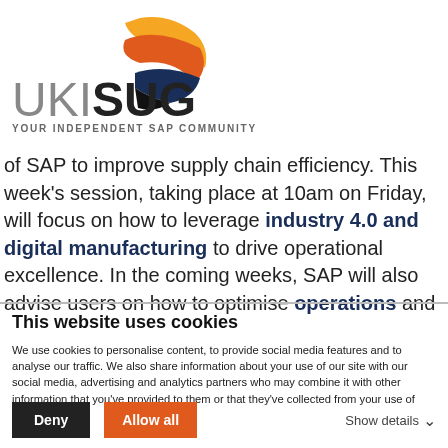[Figure (logo): UKISUG logo with colorful bird/flame icon above the text, and tagline YOUR INDEPENDENT SAP COMMUNITY below]
of SAP to improve supply chain efficiency. This week's session, taking place at 10am on Friday, will focus on how to leverage industry 4.0 and digital manufacturing to drive operational excellence. In the coming weeks, SAP will also advise users on how to optimise operations and
This website uses cookies
We use cookies to personalise content, to provide social media features and to analyse our traffic. We also share information about your use of our site with our social media, advertising and analytics partners who may combine it with other information that you've provided to them or that they've collected from your use of their services.
Deny | Allow all | Show details